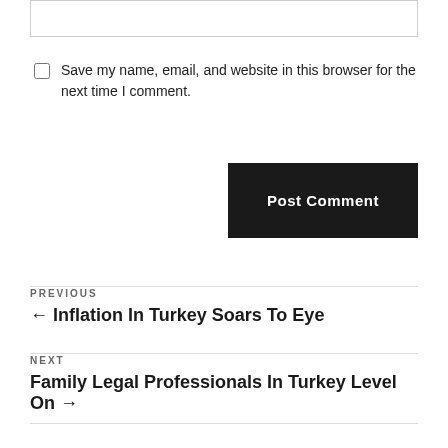Save my name, email, and website in this browser for the next time I comment.
Post Comment
PREVIOUS
← Inflation In Turkey Soars To Eye
NEXT
Family Legal Professionals In Turkey Level On →